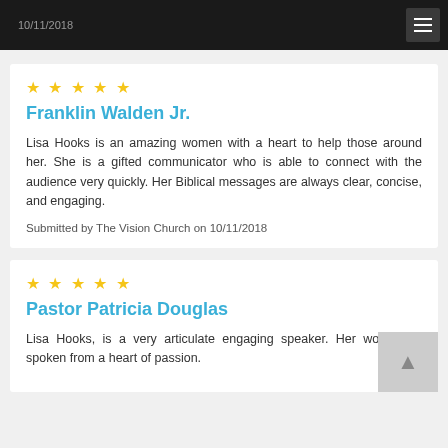10/11/2018
★★★★★
Franklin Walden Jr.
Lisa Hooks is an amazing women with a heart to help those around her. She is a gifted communicator who is able to connect with the audience very quickly. Her Biblical messages are always clear, concise, and engaging.
Submitted by The Vision Church on 10/11/2018
★★★★★
Pastor Patricia Douglas
Lisa Hooks, is a very articulate engaging speaker. Her words are spoken from a heart of passion.